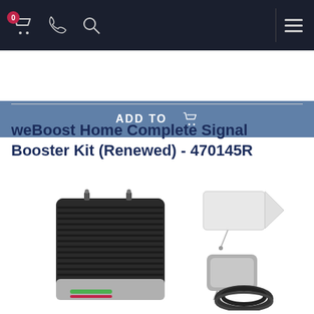Navigation bar with cart (0), phone, search icons and hamburger menu
ADD TO [cart]
weBoost Home Complete Signal Booster Kit (Renewed) - 470145R
[Figure (photo): weBoost Home Complete Signal Booster Kit product photo showing a black/silver rectangular signal booster unit with two antenna connectors on top, accompanied by an outdoor yagi/panel antenna (white), an indoor panel antenna (grey), and two coaxial cables coiled up.]